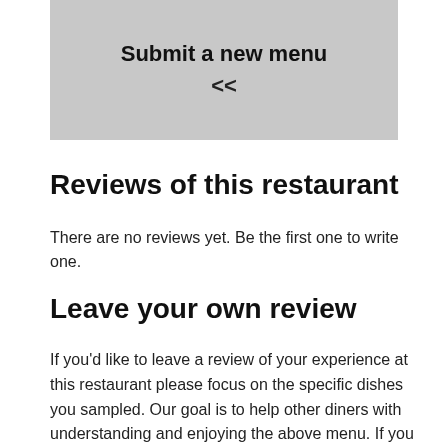[Figure (screenshot): Gray banner showing partial text 'Submit a new menu' and navigation '<<']
Reviews of this restaurant
There are no reviews yet. Be the first one to write one.
Leave your own review
If you'd like to leave a review of your experience at this restaurant please focus on the specific dishes you sampled. Our goal is to help other diners with understanding and enjoying the above menu. If you did not enjoy a dish, please provide constructive criticism